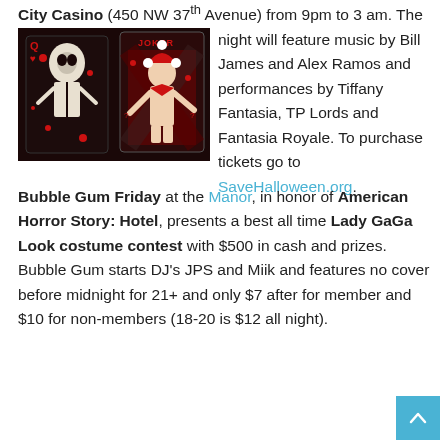City Casino (450 NW 37th Avenue) from 9pm to 3 am. The night will feature music by Bill James and Alex Ramos and performances by Tiffany Fantasia, TP Lords and Fantasia Royale. To purchase tickets go to SaveHalloween.org.
[Figure (photo): Playing cards with Halloween/Joker theme artwork — a skeletal queen of hearts and a muscular Joker figure in red and black]
Bubble Gum Friday at the Manor, in honor of American Horror Story: Hotel, presents a best all time Lady GaGa Look costume contest with $500 in cash and prizes. Bubble Gum starts DJ's JPS and Miik and features no cover before midnight for 21+ and only $7 after for member and $10 for non-members (18-20 is $12 all night).